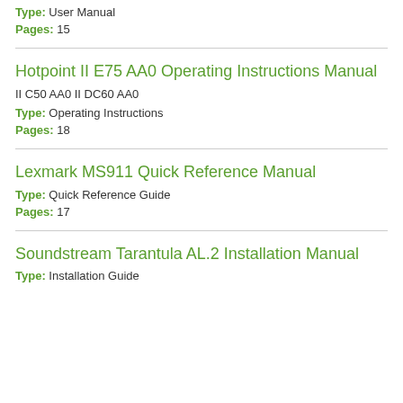Type: User Manual
Pages: 15
Hotpoint II E75 AA0 Operating Instructions Manual
II C50 AA0 II DC60 AA0
Type: Operating Instructions
Pages: 18
Lexmark MS911 Quick Reference Manual
Type: Quick Reference Guide
Pages: 17
Soundstream Tarantula AL.2 Installation Manual
Type: Installation Guide